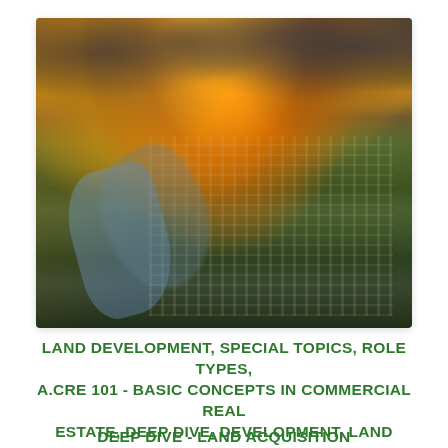[Figure (photo): Aerial photograph of a city with a river winding through it, taken at sunset/dusk. The sky features dramatic orange and golden hues with dark storm clouds. The urban area shows roads, buildings, industrial zones, and green spaces. Taken from a high altitude looking across the landscape.]
LAND DEVELOPMENT, SPECIAL TOPICS, ROLE TYPES, A.CRE 101 - BASIC CONCEPTS IN COMMERCIAL REAL ESTATE, DEEP DIVE, DEVELOPMENT, LAND DEEP DIVE - LAND ACQUISITION